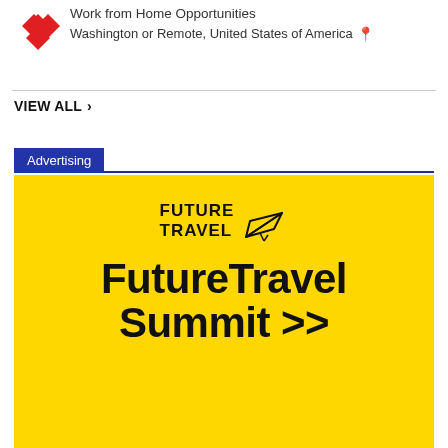[Figure (logo): Red diamond/flower shaped logo with four red diamond shapes arranged in a cross pattern]
Work from Home Opportunities
Washington or Remote, United States of America 📍
VIEW ALL >
Advertising
[Figure (other): FutureTravel Summit advertisement banner with yellow background, Future Travel logo with paper plane icon, and text 'FutureTravel Summit >>']